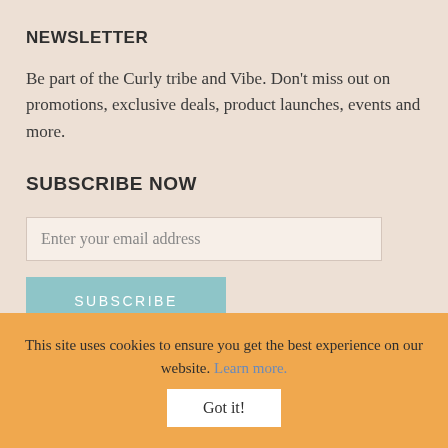NEWSLETTER
Be part of the Curly tribe and Vibe. Don't miss out on promotions, exclusive deals, product launches, events and more.
SUBSCRIBE NOW
Enter your email address
SUBSCRIBE
This site uses cookies to ensure you get the best experience on our website. Learn more.
Got it!